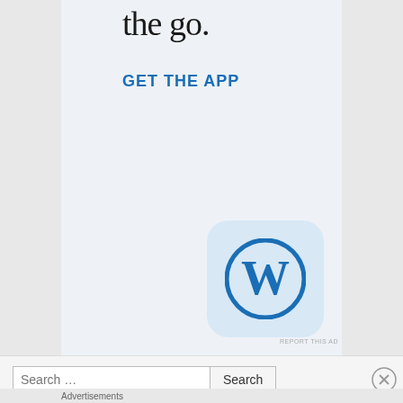the go.
GET THE APP
[Figure (logo): WordPress app icon — blue W logo on light blue rounded-square background]
REPORT THIS AD
Search …
Advertisements